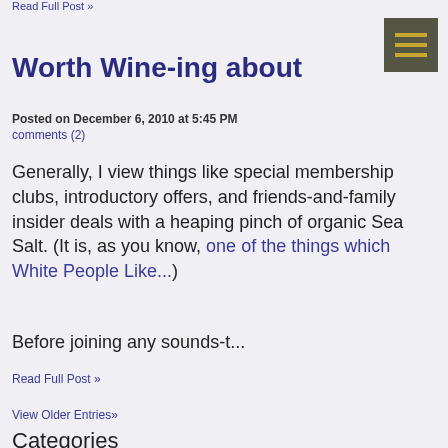Read Full Post »
Worth Wine-ing about
Posted on December 6, 2010 at 5:45 PM
comments (2)
Generally, I view things like special membership clubs, introductory offers, and friends-and-family insider deals with a heaping pinch of organic Sea Salt. (It is, as you know, one of the things which White People Like...)
Before joining any sounds-t...
Read Full Post »
View Older Entries»
Categories